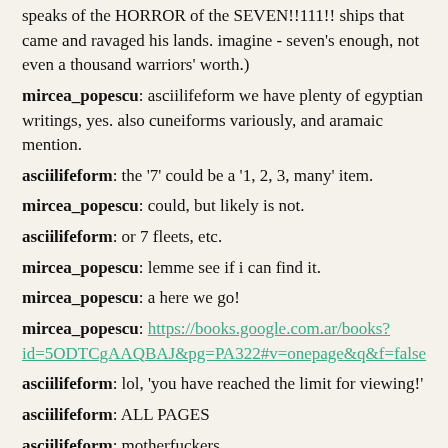speaks of the HORROR of the SEVEN!!111!! ships that came and ravaged his lands. imagine - seven's enough, not even a thousand warriors' worth.)
mircea_popescu: asciilifeform we have plenty of egyptian writings, yes. also cuneiforms variously, and aramaic mention.
asciilifeform: the '7' could be a '1, 2, 3, many' item.
mircea_popescu: could, but likely is not.
asciilifeform: or 7 fleets, etc.
mircea_popescu: lemme see if i can find it.
mircea_popescu: a here we go!
mircea_popescu: https://books.google.com.ar/books?id=5ODTCgAAQBAJ&pg=PA322#v=onepage&q&f=false
asciilifeform: lol, 'you have reached the limit for viewing!'
asciilifeform: ALL PAGES
asciilifeform: motherfuckers.
mircea_popescu: tsk,